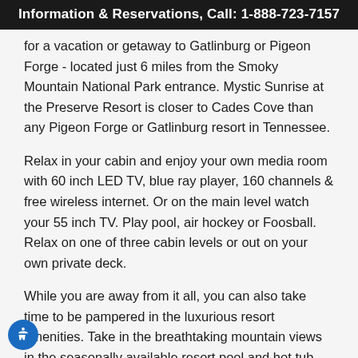Information & Reservations, Call: 1-888-723-7157
for a vacation or getaway to Gatlinburg or Pigeon Forge - located just 6 miles from the Smoky Mountain National Park entrance. Mystic Sunrise at the Preserve Resort is closer to Cades Cove than any Pigeon Forge or Gatlinburg resort in Tennessee.
Relax in your cabin and enjoy your own media room with 60 inch LED TV, blue ray player, 160 channels & free wireless internet. Or on the main level watch your 55 inch TV. Play pool, air hockey or Foosball. Relax on one of three cabin levels or out on your own private deck.
While you are away from it all, you can also take time to be pampered in the luxurious resort amenities. Take in the breathtaking mountain views in the seasonally available resort pool and hot tub. Take time to work out in the well-equipped Preserve workout room or relax in the wet or dry sauna. The outdoor pavilion is a great place for a group to